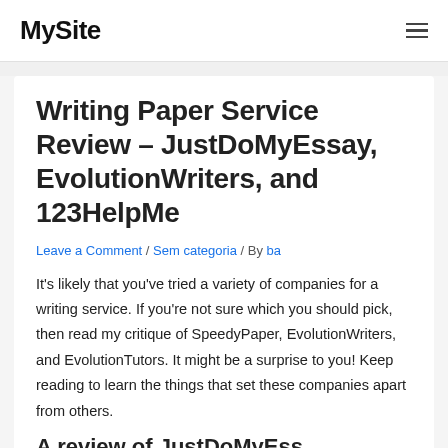MySite
Writing Paper Service Review – JustDoMyEssay, EvolutionWriters, and 123HelpMe
Leave a Comment / Sem categoria / By ba
It's likely that you've tried a variety of companies for a writing service. If you're not sure which you should pick, then read my critique of SpeedyPaper, EvolutionWriters, and EvolutionTutors. It might be a surprise to you! Keep reading to learn the things that set these companies apart from others.
A review of JustDoMyEss...